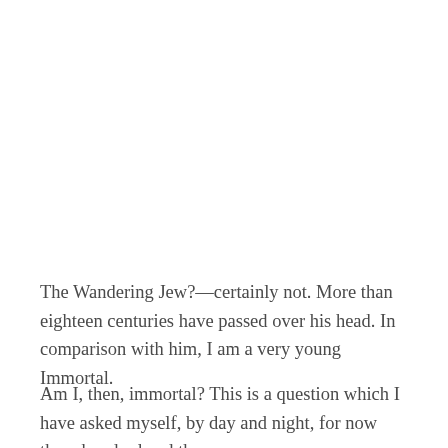The Wandering Jew?—certainly not. More than eighteen centuries have passed over his head. In comparison with him, I am a very young Immortal.
Am I, then, immortal? This is a question which I have asked myself, by day and night, for now three hundred and three